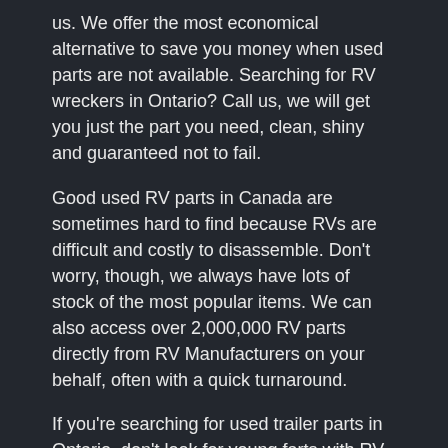us. We offer the most economical alternative to save you money when used parts are not available. Searching for RV wreckers in Ontario? Call us, we will get you just the part you need, clean, shiny and guaranteed not to fail.
Good used RV parts in Canada are sometimes hard to find because RVs are difficult and costly to disassemble. Don't worry, though, we always have lots of stock of the most popular items. We can also access over 2,000,000 RV parts directly from RV Manufacturers on your behalf, often with a quick turnaround.
If you're searching for used trailer parts in Ontario, don't look for young farts with RV Parts, RV Part Shop is the better alternative.
RV Products and Services We Offer
We have the most comprehensive parts and accessories selection for your RV online. We combine that with exceptional customer service, fast free shipping, and easy returns.